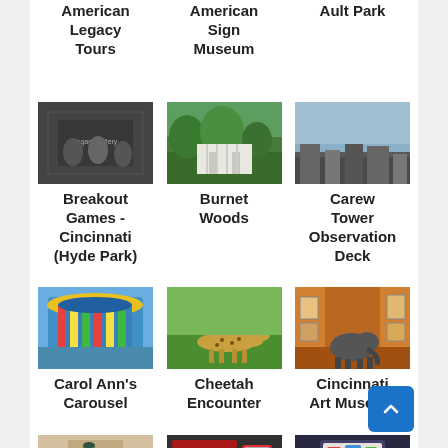American Legacy Tours
American Sign Museum
Ault Park
[Figure (photo): Black and white photo of people at a table, LegacyGallery text overlay]
[Figure (photo): Green trees and white building exterior - Burnet Woods]
[Figure (photo): Aerial city view - Carew Tower Observation Deck]
Breakout Games - Cincinnati (Hyde Park)
Burnet Woods
Carew Tower Observation Deck
[Figure (photo): Colorful carousel - Carol Ann's Carousel]
[Figure (photo): Cheetah on grass - Cheetah Encounter]
[Figure (photo): Museum interior with warm orange lighting and elephant sculpture - Cincinnati Art Museum]
Carol Ann's Carousel
Cheetah Encounter
Cincinnati Art Museum
[Figure (photo): Restaurant or bar interior photo]
[Figure (photo): Red vintage fire truck]
[Figure (photo): Museum exhibit with colorful display]